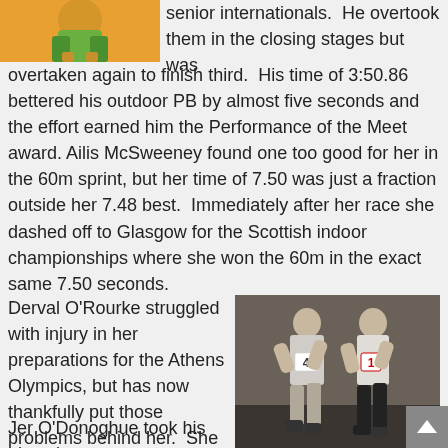[Figure (photo): Partial photo of athlete in green and yellow/orange sports kit, top-left corner]
senior internationals.  He overtook them in the closing stages but was overtaken again to finish third.  His time of 3:50.86 bettered his outdoor PB by almost five seconds and the effort earned him the Performance of the Meet award. Ailis McSweeney found one too good for her in the 60m sprint, but her time of 7.50 was just a fraction outside her 7.48 best.  Immediately after her race she dashed off to Glasgow for the Scottish indoor championships where she won the 60m in the exact same 7.50 seconds. Derval O'Rourke struggled with injury in her preparations for the Athens Olympics, but has now thankfully put those problems behind her.  She was in top form in winning the 60m hurdles in a time of 8.24, and also added a new PB in the 60m flat with a time of 7.59. Jer O'Donoghue took his place in
[Figure (photo): Indoor athletics photo showing two male runners racing, one wearing bib number 4 and another wearing bib number 1]